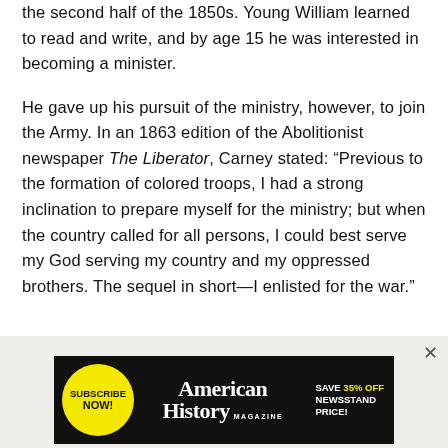the second half of the 1850s. Young William learned to read and write, and by age 15 he was interested in becoming a minister.
He gave up his pursuit of the ministry, however, to join the Army. In an 1863 edition of the Abolitionist newspaper The Liberator, Carney stated: “Previous to the formation of colored troops, I had a strong inclination to prepare myself for the ministry; but when the country called for all persons, I could best serve my God serving my country and my oppressed brothers. The sequel in short—I enlisted for the war.”
[Figure (other): Advertisement banner for American History Magazine with yellow subscribe now circle button, black background, and yellow text 'SAVE 35% OFF NEWSSTAND PRICE!']